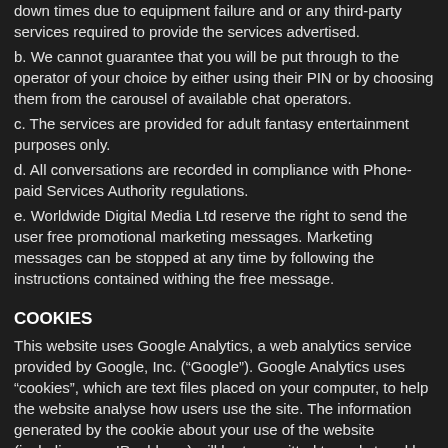down times due to equipment failure and or any third-party services required to provide the services advertised.
b. We cannot guarantee that you will be put through to the operator of your choice by either using their PIN or by choosing them from the carousel of available chat operators.
c. The services are provided for adult fantasy entertainment purposes only.
d. All conversations are recorded in compliance with Phone-paid Services Authority regulations.
e. Worldwide Digital Media Ltd reserve the right to send the user free promotional marketing messages. Marketing messages can be stopped at any time by following the instructions contained withing the free message.
COOKIES
This website uses Google Analytics, a web analytics service provided by Google, Inc. (“Google”). Google Analytics uses “cookies”, which are text files placed on your computer, to help the website analyse how users use the site. The information generated by the cookie about your use of the website (including your IP address) will be transmitted to and stored by Google on servers in the United States. Google will use this information for the purpose of